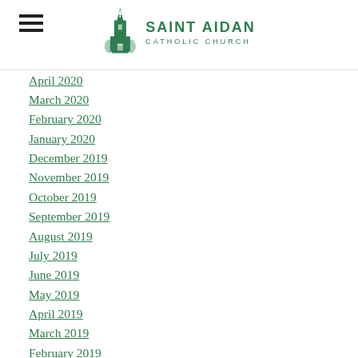Saint Aidan Catholic Church
April 2020
March 2020
February 2020
January 2020
December 2019
November 2019
October 2019
September 2019
August 2019
July 2019
June 2019
May 2019
April 2019
March 2019
February 2019
January 2019
December 2018
November 2018
October 2018
September 2018
August 2018
July 2018
June 2018